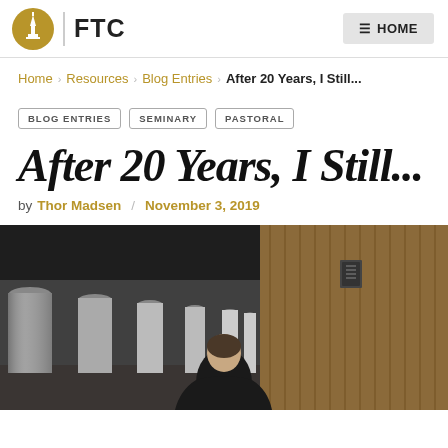FTC | HOME
Home › Resources › Blog Entries › After 20 Years, I Still...
BLOG ENTRIES
SEMINARY
PASTORAL
After 20 Years, I Still...
by Thor Madsen / November 3, 2019
[Figure (photo): A person viewed from behind walking through a hallway with large cylindrical columns on the left and wooden panel walls on the right, in a modern institutional building.]